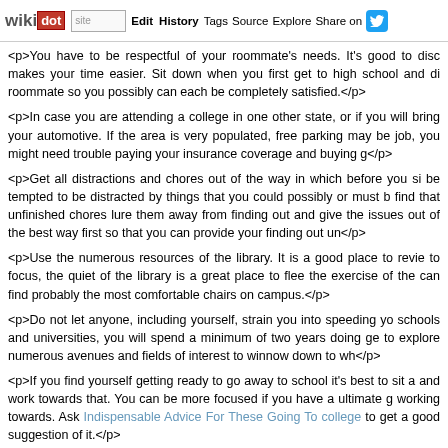wikidot | site | Edit | History | Tags | Source | Explore | Share on [Twitter]
<p>You have to be respectful of your roommate's needs. It's good to disc makes your time easier. Sit down when you first get to high school and di roommate so you possibly can each be completely satisfied.</p>
<p>In case you are attending a college in one other state, or if you will bring your automotive. If the area is very populated, free parking may be job, you might need trouble paying your insurance coverage and buying g</p>
<p>Get all distractions and chores out of the way in which before you si be tempted to be distracted by things that you could possibly or must b find that unfinished chores lure them away from finding out and give the issues out of the best way first so that you can provide your finding out un</p>
<p>Use the numerous resources of the library. It is a good place to revie to focus, the quiet of the library is a great place to flee the exercise of the can find probably the most comfortable chairs on campus.</p>
<p>Do not let anyone, including yourself, strain you into speeding yo schools and universities, you will spend a minimum of two years doing ge to explore numerous avenues and fields of interest to winnow down to wh</p>
<p>If you find yourself getting ready to go away to school it's best to sit a and work towards that. You can be more focused if you have a ultimate g working towards. Ask Indispensable Advice For These Going To college to get a good suggestion of it.</p>
<p>Write out a to do list the evening before. That is a good way to assist to do tomorrow. You will get up with a set of goal as an alternative of a wa lot easier to deal with.</p>